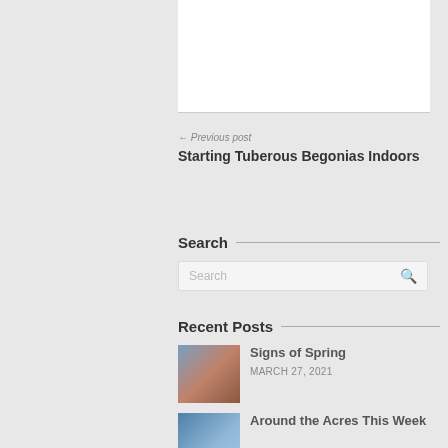[Figure (other): White content box area at top]
← Previous post
Starting Tuberous Begonias Indoors
Search
[Figure (other): Search input box with search icon]
Recent Posts
[Figure (photo): Thumbnail photo of spring blossoms on branches]
Signs of Spring
MARCH 27, 2021
[Figure (photo): Thumbnail photo with blue tones for Around the Acres This Week]
Around the Acres This Week